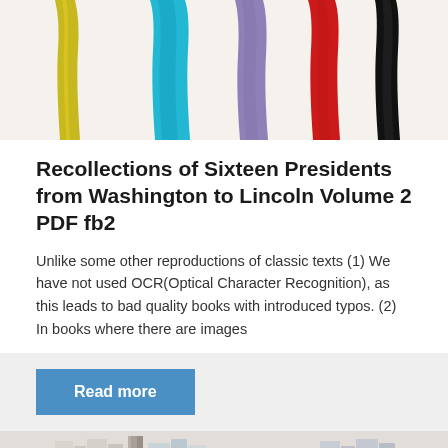[Figure (illustration): Abstract painting with colorful vertical paint stripes on white background — yellow, cyan, purple, red, and black stripes]
Recollections of Sixteen Presidents from Washington to Lincoln Volume 2 PDF fb2
Unlike some other reproductions of classic texts (1) We have not used OCR(Optical Character Recognition), as this leads to bad quality books with introduced typos. (2) In books where there are images
[Figure (photo): Photo of books on a bookshelf, slightly out of focus, showing book spines in light tones]